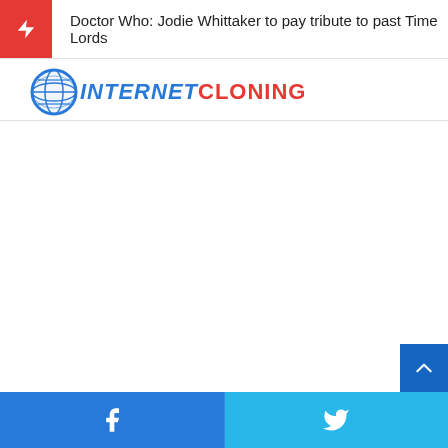Doctor Who: Jodie Whittaker to pay tribute to past Time Lords
[Figure (logo): InternetCloning logo with globe icon, 'INTERNET' in blue italic and 'CLONING' in red bold]
Facebook and Twitter share buttons